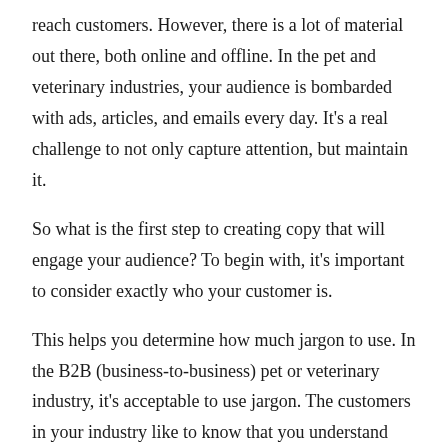reach customers. However, there is a lot of material out there, both online and offline. In the pet and veterinary industries, your audience is bombarded with ads, articles, and emails every day. It's a real challenge to not only capture attention, but maintain it.
So what is the first step to creating copy that will engage your audience? To begin with, it's important to consider exactly who your customer is.
This helps you determine how much jargon to use. In the B2B (business-to-business) pet or veterinary industry, it's acceptable to use jargon. The customers in your industry like to know that you understand them. Speaking the same language goes a long way toward establishing trust.
For businesses marketing to veterinary hospitals, this could mean not only understanding the lingo and medical